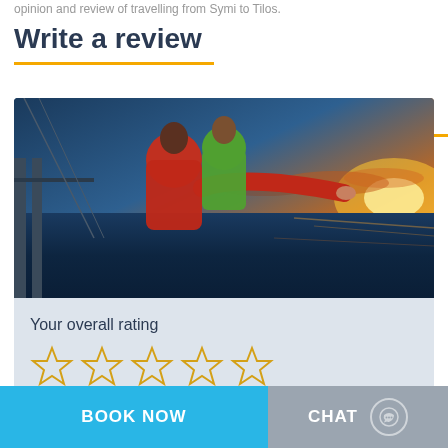opinion and review of travelling from Symi to Tilos.
Write a review
[Figure (photo): A couple on a ferry deck at sunset, woman in red jacket pointing toward the horizon, man in green jacket smiling]
Your overall rating
[Figure (other): Five empty star rating icons in gold/yellow outline]
BOOK NOW
CHAT